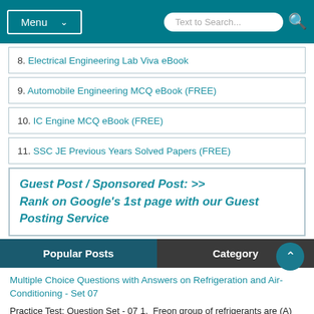Menu | Text to Search...
8. Electrical Engineering Lab Viva eBook
9. Automobile Engineering MCQ eBook (FREE)
10. IC Engine MCQ eBook (FREE)
11. SSC JE Previous Years Solved Papers (FREE)
Guest Post / Sponsored Post: >> Rank on Google's 1st page with our Guest Posting Service
Popular Posts | Category
Multiple Choice Questions with Answers on Refrigeration and Air-Conditioning - Set 07
Practice Test: Question Set - 07 1.  Freon group of refrigerants are (A) Inflammable (B) Toxic (C)  Non-inflammable and toxic (...
Automobile Engineering Objective Questions with Answers - Set 16
Practice Test: Question Set - 16 1. The temperature indicating instrument in vehicles indicates the temperature of (A) Engine piston